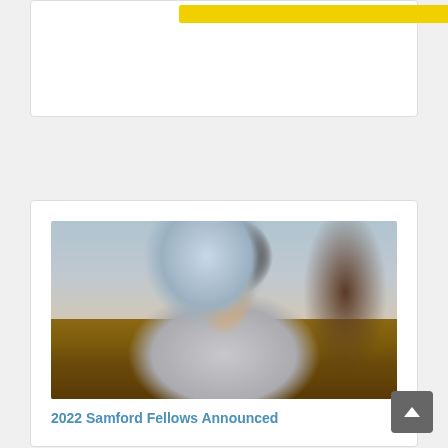[Figure (photo): Partial top card with a yellow banner/button, mostly cropped out at the top of the page]
[Figure (photo): A young woman sitting at a chess board, making a heart shape with her hands over the chess pieces, smiling at the camera. Background shows a room with windows and curtains.]
2022 Samford Fellows Announced